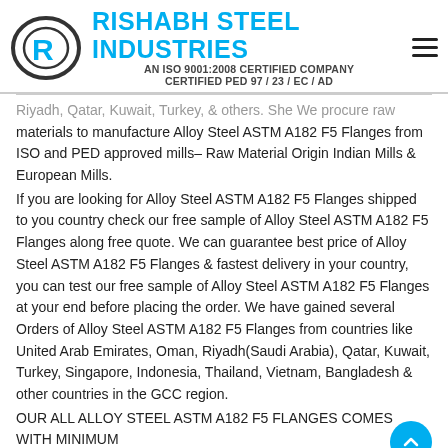RISHABH STEEL INDUSTRIES — AN ISO 9001:2008 CERTIFIED COMPANY — CERTIFIED PED 97 / 23 / EC / AD
...Riyadh, Qatar, Kuwait, Turkey, & others. She We Procure Raw materials to manufacture Alloy Steel ASTM A182 F5 Flanges from ISO and PED approved mills– Raw Material Origin Indian Mills & European Mills.
If you are looking for Alloy Steel ASTM A182 F5 Flanges shipped to you country check our free sample of Alloy Steel ASTM A182 F5 Flanges along free quote. We can guarantee best price of Alloy Steel ASTM A182 F5 Flanges & fastest delivery in your country, you can test our free sample of Alloy Steel ASTM A182 F5 Flanges at your end before placing the order. We have gained several Orders of Alloy Steel ASTM A182 F5 Flanges from countries like United Arab Emirates, Oman, Riyadh(Saudi Arabia), Qatar, Kuwait, Turkey, Singapore, Indonesia, Thailand, Vietnam, Bangladesh & other countries in the GCC region.
OUR ALL ALLOY STEEL ASTM A182 F5 FLANGES COMES WITH MINIMUM